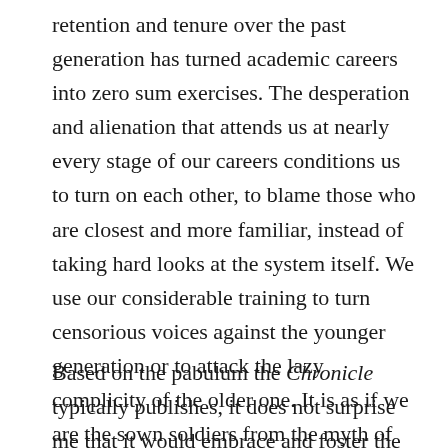retention and tenure over the past generation has turned academic careers into zero sum exercises. The desperation and alienation that attends us at nearly every stage of our careers conditions us to turn on each other, to blame those who are closest and more familiar, instead of taking hard looks at the system itself. We use our considerable training to turn censorious voices against the younger generation or to attack the lazy complicity of the older one. It is as if we are the sown soldiers from the myth of Jason and the Argonauts, bewitched to assail one another and to never acknowledge the authors of our pain.
Based on the pabulum the Chronicle typically publishes, it does not surprise me that it would embrace and foster the kind of essay which leads